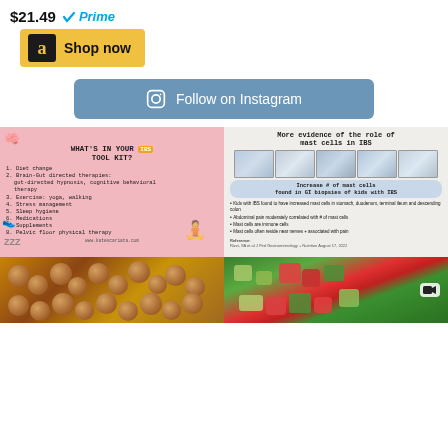$21.49 ✓Prime
[Figure (screenshot): Amazon 'Shop now' button in gold/yellow color with Amazon 'a' logo]
[Figure (screenshot): Instagram 'Follow on Instagram' button in steel blue color with Instagram camera icon]
[Figure (infographic): Pink infographic: WHAT'S IN YOUR IBS TOOL KIT? listing 8 items: 1. Diet change 2. Brain-Gut directed therapies: gut-directed hypnosis, cognitive behavioral therapy 3. Exercise: yoga, walking 4. Stress management 5. Sleep hygiene 6. Medications 7. Supplements 8. Pelvic floor physical therapy. www.katescariata.com]
[Figure (infographic): Medical infographic: More evidence of the role of mast cells in IBS. Shows microscopy biopsy images. Increase # of mast cells found in GI biopsies of kids with IBS. Bullet points: Kids with IBS found to have increased mast cells in stomach, duodenum, terminal ileum and descending colon. Abdominal pain moderately correlated with # of mast cells. Mast cells are immune cells. Mast cells often reside near nerves + associated with pain. Reference: Rizvi, SA et al J Ped Gastroenterology + Nutrition August 17, 2022]
[Figure (photo): Close-up photo of meatballs with sesame seeds on a plate]
[Figure (photo): Close-up photo of chopped vegetables - cucumber, tomato, and green herbs. Video camera icon overlay in top right.]